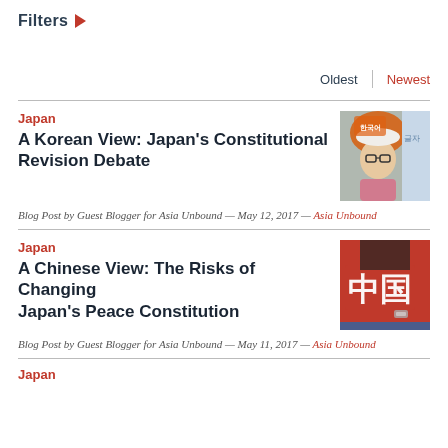Filters ▶
Oldest | Newest
Japan
A Korean View: Japan's Constitutional Revision Debate
[Figure (photo): Photo of a protester wearing a white hat and glasses, holding an orange sign with Korean text]
Blog Post by Guest Blogger for Asia Unbound — May 12, 2017 — Asia Unbound
Japan
A Chinese View: The Risks of Changing Japan's Peace Constitution
[Figure (photo): Photo of a person wearing a red shirt with Chinese characters 中国]
Blog Post by Guest Blogger for Asia Unbound — May 11, 2017 — Asia Unbound
Japan